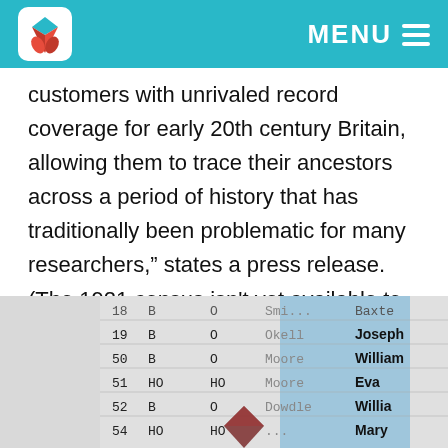MENU
customers with unrivaled record coverage for early 20th century Britain, allowing them to trace their ancestors across a period of history that has traditionally been problematic for many researchers,” states a press release. (The 1921 census isn't yet available to researchers; the 1931 census was lost in a fire and 1941 wasn’t taken because of the war.)
[Figure (photo): Partial view of a census record table showing rows with numbers (18-54), columns with letters (B, HO, O), names like Joseph, William, Eva, Willia, Mary, and place names partially visible. A blue highlighted region partially covers the center of the image, and a dark reddish logo/icon appears at the bottom.]